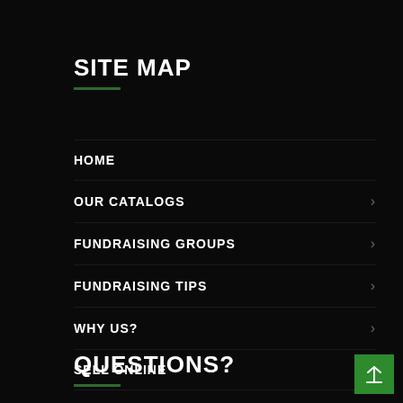SITE MAP
HOME
OUR CATALOGS
FUNDRAISING GROUPS
FUNDRAISING TIPS
WHY US?
SELL ONLINE
CONTACT US
QUESTIONS?